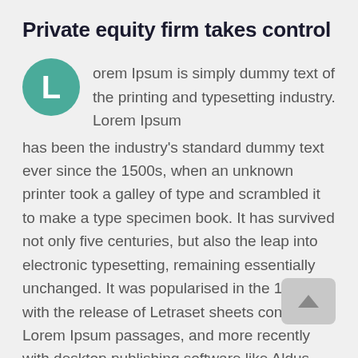Private equity firm takes control
Lorem Ipsum is simply dummy text of the printing and typesetting industry. Lorem Ipsum has been the industry's standard dummy text ever since the 1500s, when an unknown printer took a galley of type and scrambled it to make a type specimen book. It has survived not only five centuries, but also the leap into electronic typesetting, remaining essentially unchanged. It was popularised in the 1960s with the release of Letraset sheets containing Lorem Ipsum passages, and more recently with desktop publishing software like Aldus PageMaker including versions of Lorem Ipsum.
It is a long established fact that a reader will be distracted by the readable content of a page when